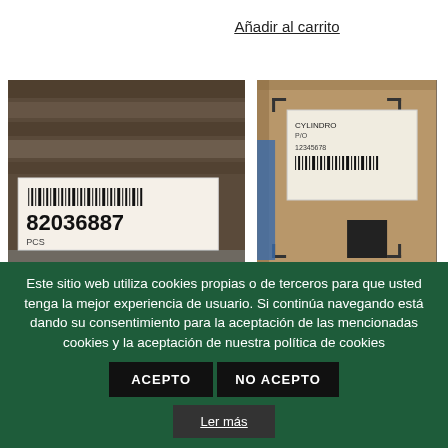Añadir al carrito
[Figure (photo): Two photos side by side: left photo shows a packaged item with a barcode label reading 82036887 and red FRAGILE text; right photo shows a cardboard box with a shipping label.]
Este sitio web utiliza cookies propias o de terceros para que usted tenga la mejor experiencia de usuario. Si continúa navegando está dando su consentimiento para la aceptación de las mencionadas cookies y la aceptación de nuestra política de cookies ACEPTO NO ACEPTO Ler más